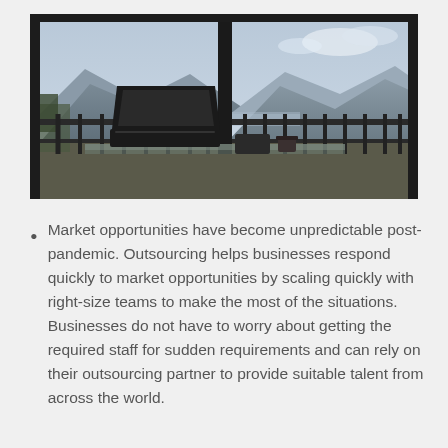[Figure (photo): A laptop on a glass table on a balcony or terrace with a scenic mountain and lake view through large windows with dark metal railings. The sky is partly cloudy.]
Market opportunities have become unpredictable post-pandemic. Outsourcing helps businesses respond quickly to market opportunities by scaling quickly with right-size teams to make the most of the situations. Businesses do not have to worry about getting the required staff for sudden requirements and can rely on their outsourcing partner to provide suitable talent from across the world.